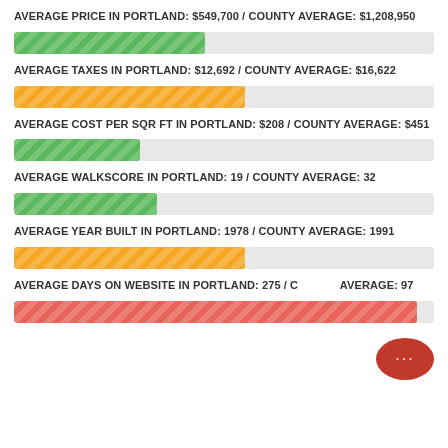AVERAGE PRICE IN PORTLAND: $549,700 / COUNTY AVERAGE: $1,208,950
[Figure (bar-chart): Average Price]
AVERAGE TAXES IN PORTLAND: $12,692 / COUNTY AVERAGE: $16,622
[Figure (bar-chart): Average Taxes]
AVERAGE COST PER SQR FT IN PORTLAND: $208 / COUNTY AVERAGE: $451
[Figure (bar-chart): Average Cost Per Sqr Ft]
AVERAGE WALKSCORE IN PORTLAND: 19 / COUNTY AVERAGE: 32
[Figure (bar-chart): Average Walkscore]
AVERAGE YEAR BUILT IN PORTLAND: 1978 / COUNTY AVERAGE: 1991
[Figure (bar-chart): Average Year Built]
AVERAGE DAYS ON WEBSITE IN PORTLAND: 275 / COUNTY AVERAGE: 97
[Figure (bar-chart): Average Days on Website]